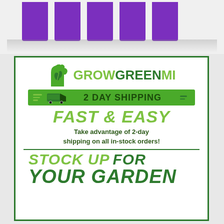[Figure (logo): Purple stylized text logo at top of page (partially visible, cropped)]
[Figure (infographic): GrowGreenMI promotional card with green border. Contains Michigan mitten logo, brand name GROWGREENMI, a green truck graphic with '2 DAY SHIPPING', 'FAST & EASY' tagline, text 'Take advantage of 2-day shipping on all in-stock orders!', and 'STOCK UP FOR YOUR GARDEN' call to action.]